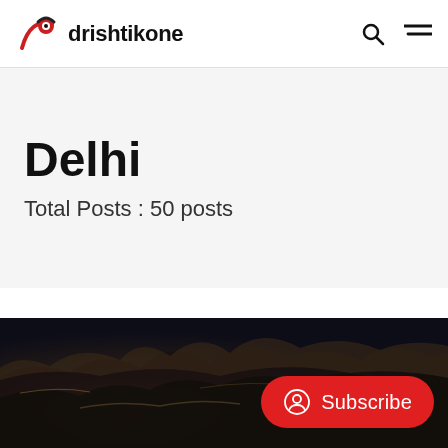drishtikone
Delhi
Total Posts : 50 posts
[Figure (photo): Dark moody sky with dramatic clouds, partially illuminated, photographed from below. A red rounded Subscribe button with a person/user icon overlays the bottom-right of the image.]